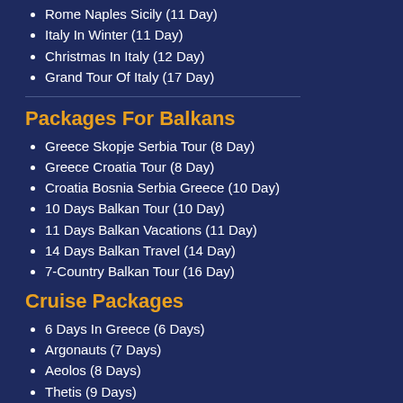Rome Naples Sicily (11 Day)
Italy In Winter (11 Day)
Christmas In Italy (12 Day)
Grand Tour Of Italy (17 Day)
Packages For Balkans
Greece Skopje Serbia Tour (8 Day)
Greece Croatia Tour (8 Day)
Croatia Bosnia Serbia Greece (10 Day)
10 Days Balkan Tour (10 Day)
11 Days Balkan Vacations (11 Day)
14 Days Balkan Travel (14 Day)
7-Country Balkan Tour (16 Day)
Cruise Packages
6 Days In Greece (6 Days)
Argonauts (7 Days)
Aeolos (8 Days)
Thetis (9 Days)
Ares (10 Days)
Iris (10 Days)
Poseidon (10 Days)